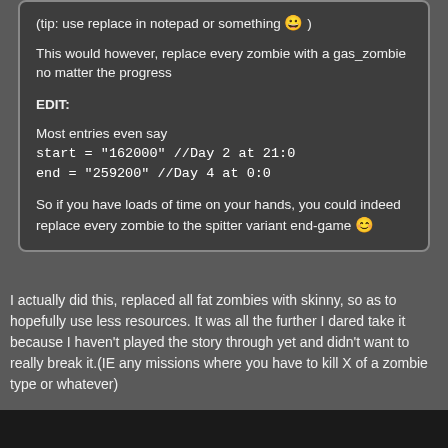(tip: use replace in notepad or something 😀)

This would however, replace every zombie with a gas_zombie no matter the progress

EDIT:

Most entries even say
start = "162000" //Day 2 at 21:0
end = "259200" //Day 4 at 0:0

So if you have loads of time on your hands, you could indeed replace every zombie to the spitter variant end-game 😊
I actually did this, replaced all fat zombies with skinny, so as to hopefully use less resources. It was all the further I dared take it because I haven't played the story through yet and didn't want to really break it.(IE any missions where you have to kill X of a zombie type or whatever)
Note: I don't think you can change zombie types to types that are not natrually present. I tried putting showgirls in the main menu and other various places, as well as cocktail dresses, and nothing, still guy zombies, even in some of the zones that felt like they should be(the first casine you